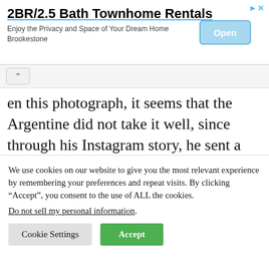[Figure (screenshot): Advertisement banner for '2BR/2.5 Bath Townhome Rentals' with an Open button]
en this photograph, it seems that the Argentine did not take it well, since through his Instagram story, he sent a somewhat direct comment for both actresses, because yes, Victoria Ruffo was also involved in this:
We use cookies on our website to give you the most relevant experience by remembering your preferences and repeat visits. By clicking “Accept”, you consent to the use of ALL the cookies.
Do not sell my personal information.
Cookie Settings   Accept